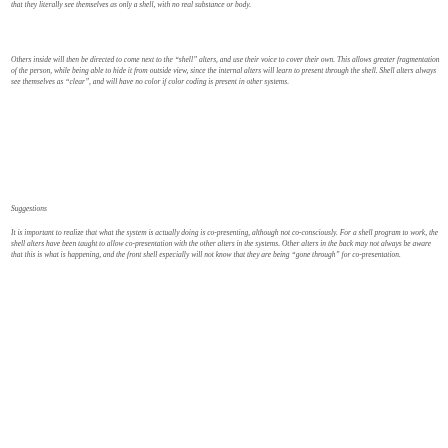that they literally see themselves as only a shell, with no real substance or body.
Others inside will then be directed to come next to the “shell” alters, and use their voice to cover their own. This allows greater fragmentation of the person, while being able to hide it from outside view, since the internal alters will learn to present through the shell. Shell alters always see themselves as “clear”, and will have no color if color coding is present in other systems.
Suggestions
It is important to realize that what the system is actually doing is co-presenting, although not co-consciously. For a shell program to work, the shell alters have been taught to allow co-presentation with the other alters in the systems. Other alters in the back may not always be aware that this is what is happening, and the front shell especially will not know that they are being “gone through” for co-presentation.